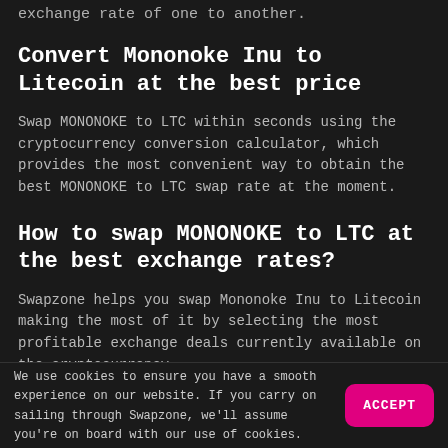exchange rate of one to another.
Convert Mononoke Inu to Litecoin at the best price
Swap MONONOKE to LTC within seconds using the cryptocurrency conversion calculator, which provides the most convenient way to obtain the best MONONOKE to LTC swap rate at the moment.
How to swap MONONOKE to LTC at the best exchange rates?
Swapzone helps you swap Mononoke Inu to Litecoin making the most of it by selecting the most profitable exchange deals currently available on the cryptocurrency
We use cookies to ensure you have a smooth experience on our website. If you carry on sailing through Swapzone, we'll assume you're on board with our use of cookies.